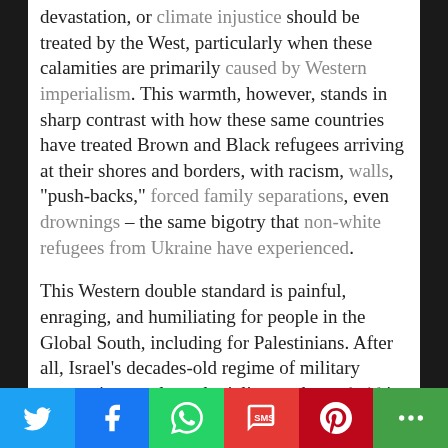devastation, or climate injustice should be treated by the West, particularly when these calamities are primarily caused by Western imperialism. This warmth, however, stands in sharp contrast with how these same countries have treated Brown and Black refugees arriving at their shores and borders, with racism, walls, "push-backs," forced family separations, even drownings – the same bigotry that non-white refugees from Ukraine have experienced.
This Western double standard is painful, enraging, and humiliating for people in the Global South, including for Palestinians. After all, Israel's decades-old regime of military occupation, settler-colonialism and apartheid is not only "Made in the West," but is still armed, funded and shielded from
[Figure (other): Social sharing bar with Twitter, Facebook, WhatsApp, SMS, Pinterest, and More buttons]